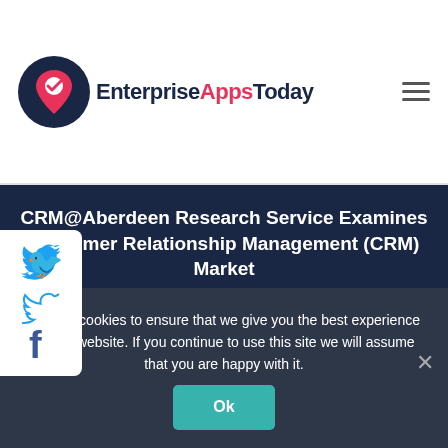EnterpriseAppsToday
CRM@Aberdeen Research Service Examines Customer Relationship Management (CRM) Market
EnterpriseAppsToday.com Staff
Updated · Dec 13, 2000
We use cookies to ensure that we give you the best experience on our website. If you continue to use this site we will assume that you are happy with it.